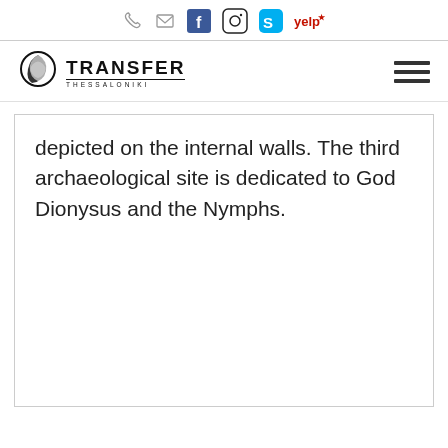Social icons bar: phone, email, Facebook, Instagram, Skype, Yelp
[Figure (logo): Transfer Thessaloniki logo with circular graphic mark and text TRANSFER / THESSALONIKI]
depicted on the internal walls. The third archaeological site is dedicated to God Dionysus and the Nymphs.